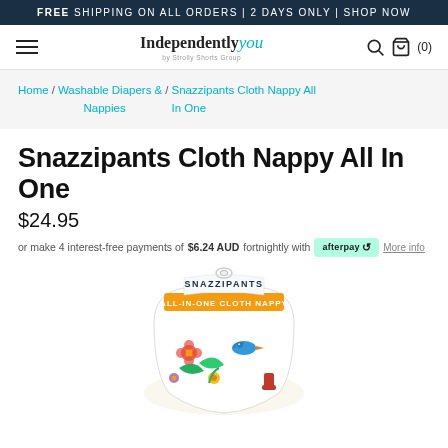FREE SHIPPING ON ALL ORDERS | 2 DAYS ONLY | SHOP NOW
[Figure (logo): Independently you by Strolly Shorts Group logo with hamburger menu, search icon and cart (0)]
Home / Washable Diapers & Nappies / Snazzipants Cloth Nappy All In One
Snazzipants Cloth Nappy All In One
$24.95
or make 4 interest-free payments of $6.24 AUD fortnightly with afterpay  More info
[Figure (photo): Snazzipants All-In-One Cloth Nappy product with colorful floral and bird pattern on white background, with yellow and orange label band at top]